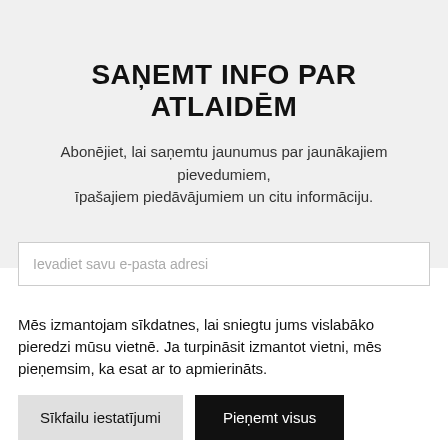SAŅEMT INFO PAR ATLAIDĒM
Abonējiet, lai saņemtu jaunumus par jaunākajiem pievedumiem, īpašajiem piedāvājumiem un citu informāciju.
Ievadiet savu e-pasta adresi
Mēs izmantojam sīkdatnes, lai sniegtu jums vislabāko pieredzi mūsu vietnē. Ja turpināsit izmantot vietni, mēs pieņemsim, ka esat ar to apmierināts.
Sīkfailu iestatījumi
Pieņemt visus